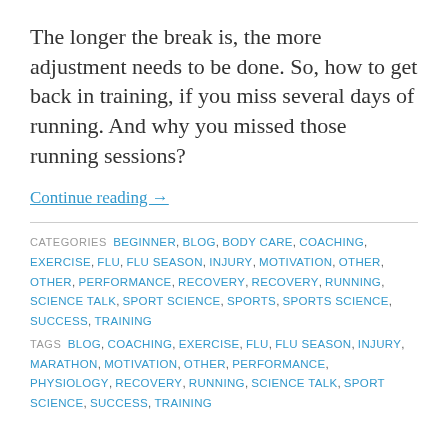The longer the break is, the more adjustment needs to be done. So, how to get back in training, if you miss several days of running. And why you missed those running sessions?
Continue reading →
CATEGORIES  BEGINNER, BLOG, BODY CARE, COACHING, EXERCISE, FLU, FLU SEASON, INJURY, MOTIVATION, OTHER, OTHER, PERFORMANCE, RECOVERY, RECOVERY, RUNNING, SCIENCE TALK, SPORT SCIENCE, SPORTS, SPORTS SCIENCE, SUCCESS, TRAINING
TAGS  BLOG, COACHING, EXERCISE, FLU, FLU SEASON, INJURY, MARATHON, MOTIVATION, OTHER, PERFORMANCE, PHYSIOLOGY, RECOVERY, RUNNING, SCIENCE TALK, SPORT SCIENCE, SUCCESS, TRAINING